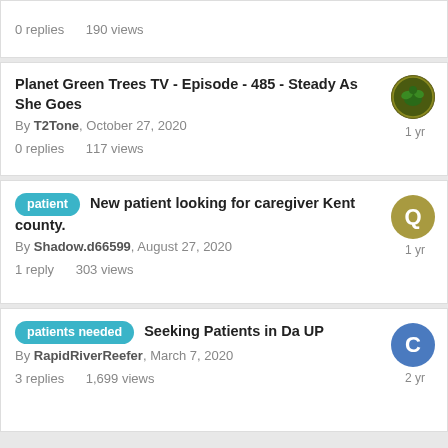0 replies   190 views
Planet Green Trees TV - Episode - 485 - Steady As She Goes
By T2Tone, October 27, 2020
0 replies   117 views
patient   New patient looking for caregiver Kent county.
By Shadow.d66599, August 27, 2020
1 reply   303 views
patients needed   Seeking Patients in Da UP
By RapidRiverReefer, March 7, 2020
3 replies   1,699 views